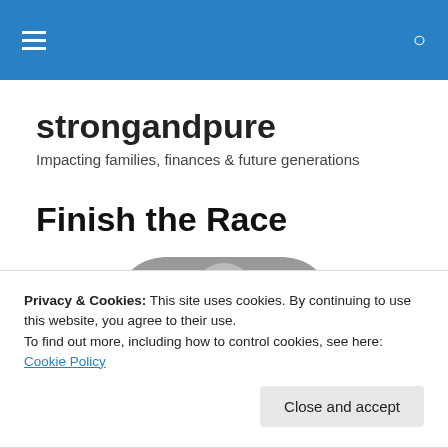strongandpure — navigation bar with hamburger menu and search icon
strongandpure
Impacting families, finances & future generations
Finish the Race
[Figure (photo): Grayscale photo of a person, partially visible, top portion showing head/shoulders with rounded top crop]
Privacy & Cookies: This site uses cookies. By continuing to use this website, you agree to their use.
To find out more, including how to control cookies, see here: Cookie Policy
Close and accept